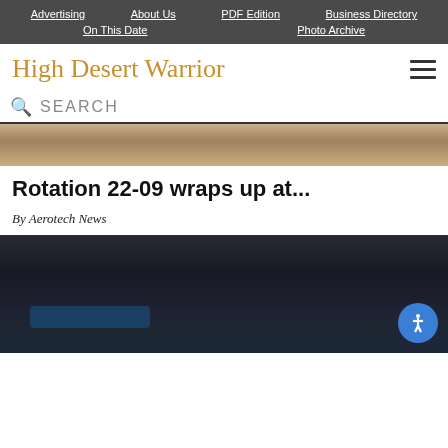Advertising | About Us | PDF Edition | Business Directory | On This Date | Photo Archive
High Desert Warrior
SEARCH
[Figure (photo): Partial top image showing desert landscape or foliage in tan/brown tones]
Rotation 22-09 wraps up at...
By Aerotech News
[Figure (photo): Aerial nighttime or dusk photograph of a city/base near a lake or body of water, with dark sky and an accessibility widget button in the lower right]